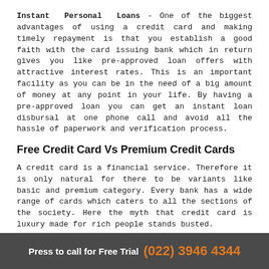Instant Personal Loans - One of the biggest advantages of using a credit card and making timely repayment is that you establish a good faith with the card issuing bank which in return gives you like pre-approved loan offers with attractive interest rates. This is an important facility as you can be in the need of a big amount of money at any point in your life. By having a pre-approved loan you can get an instant loan disbursal at one phone call and avoid all the hassle of paperwork and verification process.
Free Credit Card Vs Premium Credit Cards
A credit card is a financial service. Therefore it is only natural for there to be variants like basic and premium category. Every bank has a wide range of cards which caters to all the sections of the society. Here the myth that credit card is luxury made for rich people stands busted.
Free Cards - All the banks have the basic free category which gives good benefits like rewards points and discounts.
Press to call for Free Trial (022) 3946 4344